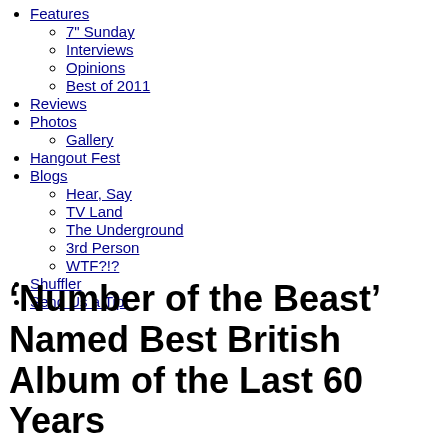Features
7" Sunday
Interviews
Opinions
Best of 2011
Reviews
Photos
Gallery
Hangout Fest
Blogs
Hear, Say
TV Land
The Underground
3rd Person
WTF?!?
Shuffler
Send Us a Tip!
‘Number of the Beast’ Named Best British Album of the Last 60 Years